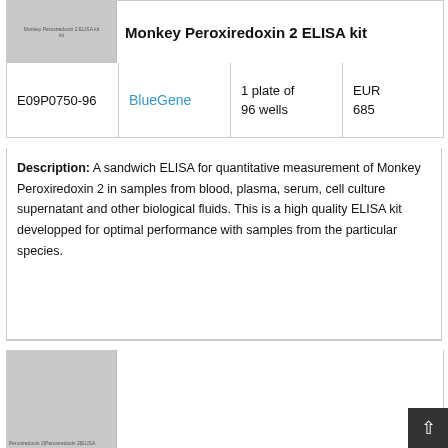Monkey Peroxiredoxin 2 ELISA kit
| Catalog | Brand | Size | Price |
| --- | --- | --- | --- |
| E09P0750-96 | BlueGene | 1 plate of 96 wells | EUR 685 |
Description: A sandwich ELISA for quantitative measurement of Monkey Peroxiredoxin 2 in samples from blood, plasma, serum, cell culture supernatant and other biological fluids. This is a high quality ELISA kit developped for optimal performance with samples from the particular species.
[Figure (photo): Product image placeholder for second ELISA kit listing showing text: Peroxiredoxin 2|Peroxiredoxin 2|ELISA]